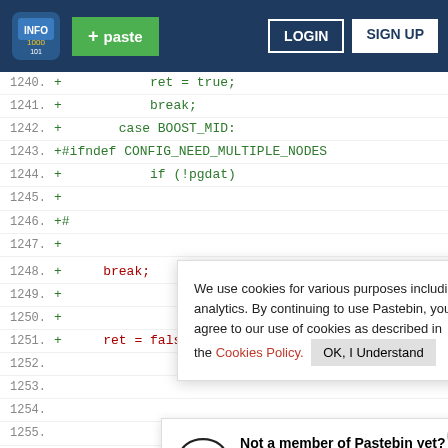[Figure (screenshot): Pastebin website header with logo, green paste button, LOGIN and SIGN UP buttons on dark blue background]
1240.  +           ret = true;
1241.  +           break;
1242.  +       case BOOST_MID:
1243.  +#ifndef CONFIG_NEED_MULTIPLE_NODES
1244.  +           if (!pgdat)
1245.  +
1246.  +#
1247.  +
We use cookies for various purposes including analytics. By continuing to use Pastebin, you agree to our use of cookies as described in the Cookies Policy.   OK, I Understand
1248.  +     break;
1249.  +
Not a member of Pastebin yet? Sign Up, it unlocks many cool features!
1250.  +
1251.  +     ret = false;
1252.
1253.
1254.
1255.
Ad  Get out of credit card debt faster with Tally   Tally: PayOff Debt Faster   Download